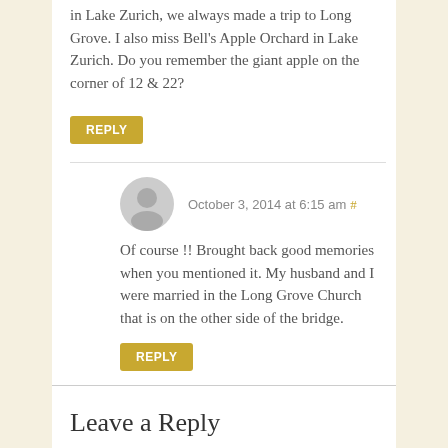in Lake Zurich, we always made a trip to Long Grove. I also miss Bell's Apple Orchard in Lake Zurich. Do you remember the giant apple on the corner of 12 & 22?
REPLY
October 3, 2014 at 6:15 am #
Of course !! Brought back good memories when you mentioned it. My husband and I were married in the Long Grove Church that is on the other side of the bridge.
REPLY
Leave a Reply